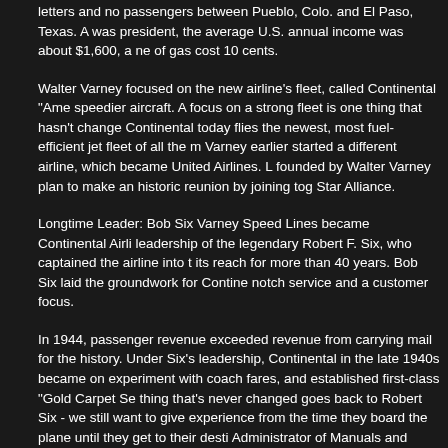letters and no passengers between Pueblo, Colo. and El Paso, Texas. A was president, the average U.S. annual income was about $1,600, a ne of gas cost 10 cents.
Walter Varney focused on the new airline's fleet, called Continental "Ame speedier aircraft. A focus on a strong fleet is one thing that hasn't change Continental today flies the newest, most fuel-efficient jet fleet of all the m Varney earlier started a different airline, which became United Airlines. L founded by Walter Varney plan to make an historic reunion by joining tog Star Alliance.
Longtime Leader: Bob Six Varney Speed Lines became Continental Airli leadership of the legendary Robert F. Six, who captained the airline into t its reach for more than 40 years. Bob Six laid the groundwork for Contine notch service and a customer focus.
In 1944, passenger revenue exceeded revenue from carrying mail for the history. Under Six's leadership, Continental in the late 1940s became on experiment with coach fares, and established first-class "Gold Carpet Se thing that's never changed goes back to Robert Six - we still want to give experience from the time they board the plane until they get to their desti Administrator of Manuals and Publications Jo Strauss, who has been wit 1968.Bob Six also secured a Continental stronghold in the pacific by cre remains a wholly-owned Continental subsidiary today.